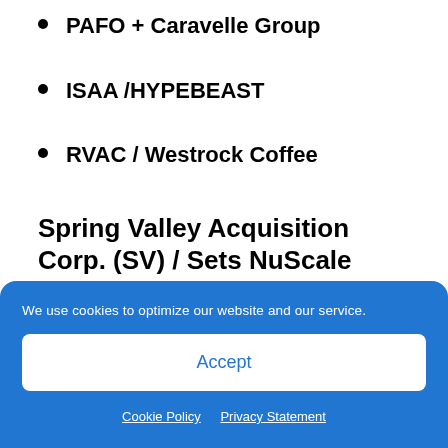PAFO + Caravelle Group
ISAA /HYPEBEAST
RVAC / Westrock Coffee
Spring Valley Acquisition Corp. (SV) / Sets NuScale Merger Date
We use cookies to optimize our website and our service.
Accept
Cookie Policy   Privacy Statement